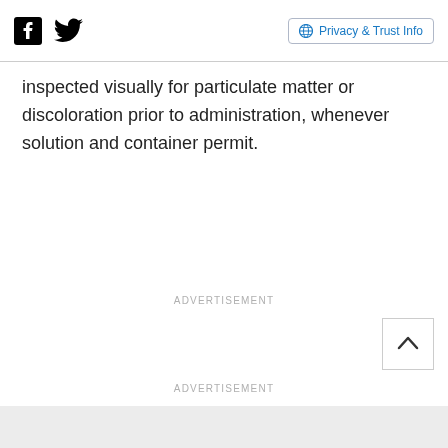Facebook | Twitter | Privacy & Trust Info
inspected visually for particulate matter or discoloration prior to administration, whenever solution and container permit.
ADVERTISEMENT
ADVERTISEMENT